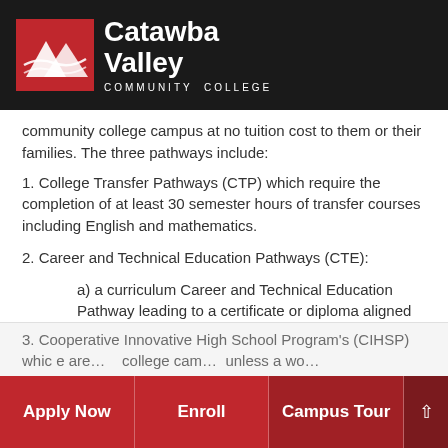[Figure (logo): Catawba Valley Community College logo with red mountain graphic and white text on dark background]
community college campus at no tuition cost to them or their families. The three pathways include:
1. College Transfer Pathways (CTP) which require the completion of at least 30 semester hours of transfer courses including English and mathematics.
2. Career and Technical Education Pathways (CTE):
a) a curriculum Career and Technical Education Pathway leading to a certificate or diploma aligned with a high school career cluster.
b) a Workforce Continuing Education Pathway (WCEP) leading to a state or industry recognized credential aligned with a high school career cluster.
3. Cooperative Innovative High School Programs (CIHSP) which are… college cam… unless a wo…
Apply Now | Enroll | Campus Tour